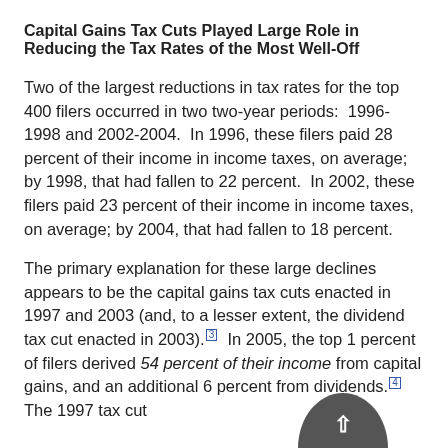Capital Gains Tax Cuts Played Large Role in Reducing the Tax Rates of the Most Well-Off
Two of the largest reductions in tax rates for the top 400 filers occurred in two two-year periods:  1996-1998 and 2002-2004.  In 1996, these filers paid 28 percent of their income in income taxes, on average; by 1998, that had fallen to 22 percent.  In 2002, these filers paid 23 percent of their income in income taxes, on average; by 2004, that had fallen to 18 percent.
The primary explanation for these large declines appears to be the capital gains tax cuts enacted in 1997 and 2003 (and, to a lesser extent, the dividend tax cut enacted in 2003).[3]  In 2005, the top 1 percent of filers derived 54 percent of their income from capital gains, and an additional 6 percent from dividends.[4]  The 1997 tax cut